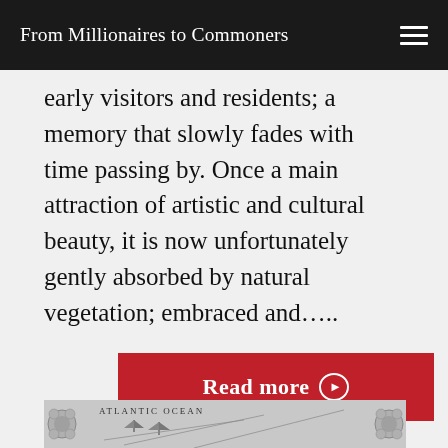From Millionaires to Commoners
early visitors and residents; a memory that slowly fades with time passing by. Once a main attraction of artistic and cultural beauty, it is now unfortunately gently absorbed by natural vegetation; embraced and…..
Read more ❯
[Figure (map): Partial view of a vintage map showing 'Atlantic Ocean' with illustrated sailing ships and decorative border elements]